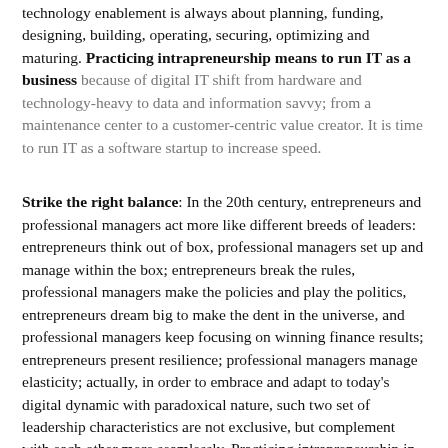technology enablement is always about planning, funding, designing, building, operating, securing, optimizing and maturing. Practicing intrapreneurship means to run IT as a business because of digital IT shift from hardware and technology-heavy to data and information savvy; from a maintenance center to a customer-centric value creator. It is time to run IT as a software startup to increase speed.
Strike the right balance: In the 20th century, entrepreneurs and professional managers act more like different breeds of leaders: entrepreneurs think out of box, professional managers set up and manage within the box; entrepreneurs break the rules, professional managers make the policies and play the politics, entrepreneurs dream big to make the dent in the universe, and professional managers keep focusing on winning finance results; entrepreneurs present resilience; professional managers manage elasticity; actually, in order to embrace and adapt to today's digital dynamic with paradoxical nature, such two set of leadership characteristics are not exclusive, but complement with each other more seamlessly. Practicing intrapreneurship in large enterprises needs